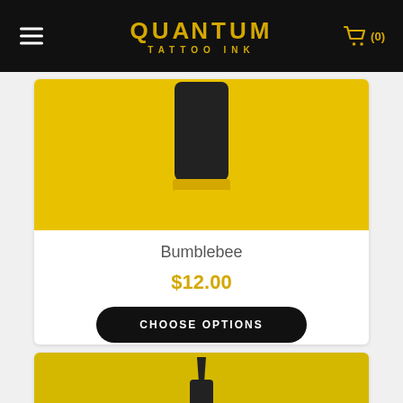QUANTUM TATTOO INK | (0)
[Figure (photo): Quantum Tattoo Ink bottle with black cap and yellow label on a yellow background - Bumblebee product]
Bumblebee
$12.00
CHOOSE OPTIONS
[Figure (photo): Quantum Tattoo Ink dropper bottle on yellow background - second product]